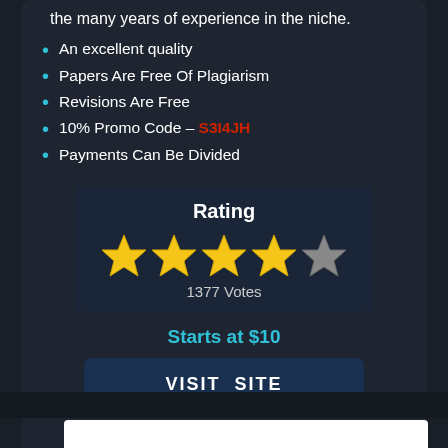the many years of experience in the niche.
An excellent quality
Papers Are Free Of Plagiarism
Revisions Are Free
10% Promo Code – S3I4JH
Payments Can Be Divided
[Figure (infographic): Rating box showing 4 out of 5 stars with 1377 Votes, Starts at $10, and a VISIT SITE button]
Starts at $10
VISIT SITE